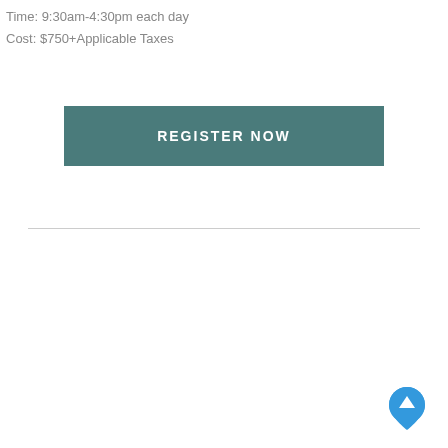Time: 9:30am-4:30pm each day
Cost: $750+Applicable Taxes
[Figure (other): REGISTER NOW button — teal/dark green rectangular button with white uppercase text]
[Figure (other): Blue teardrop-shaped scroll-to-top button with white upward arrow icon in bottom-right corner]